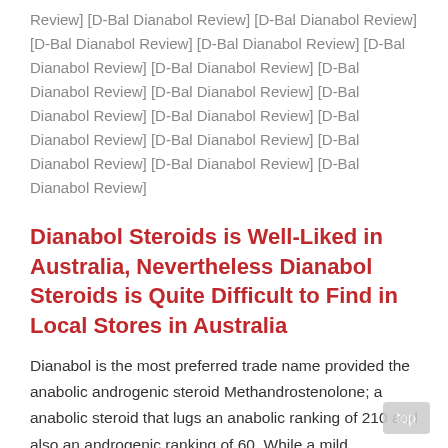Review] [D-Bal Dianabol Review] [D-Bal Dianabol Review] [D-Bal Dianabol Review] [D-Bal Dianabol Review] [D-Bal Dianabol Review] [D-Bal Dianabol Review] [D-Bal Dianabol Review] [D-Bal Dianabol Review] [D-Bal Dianabol Review] [D-Bal Dianabol Review] [D-Bal Dianabol Review] [D-Bal Dianabol Review] [D-Bal Dianabol Review] [D-Bal Dianabol Review] [D-Bal Dianabol Review]
Dianabol Steroids is Well-Liked in Australia, Nevertheless Dianabol Steroids is Quite Difficult to Find in Local Stores in Australia
Dianabol is the most preferred trade name provided the anabolic androgenic steroid Methandrostenolone; a anabolic steroid that lugs an anabolic ranking of 210 and also an androgenic ranking of 60. While a mild androgenic rating, its androgenic task usually appears to